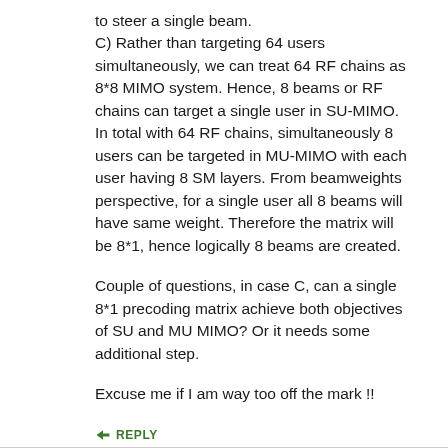to steer a single beam.
C) Rather than targeting 64 users simultaneously, we can treat 64 RF chains as 8*8 MIMO system. Hence, 8 beams or RF chains can target a single user in SU-MIMO. In total with 64 RF chains, simultaneously 8 users can be targeted in MU-MIMO with each user having 8 SM layers. From beamweights perspective, for a single user all 8 beams will have same weight. Therefore the matrix will be 8*1, hence logically 8 beams are created.
Couple of questions, in case C, can a single 8*1 precoding matrix achieve both objectives of SU and MU MIMO? Or it needs some additional step.
Excuse me if I am way too off the mark !!
REPLY